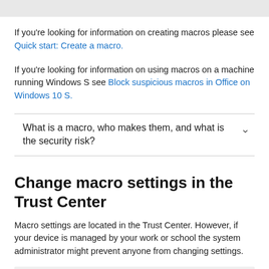If you're looking for information on creating macros please see Quick start: Create a macro.
If you're looking for information on using macros on a machine running Windows S see Block suspicious macros in Office on Windows 10 S.
What is a macro, who makes them, and what is the security risk?
Change macro settings in the Trust Center
Macro settings are located in the Trust Center. However, if your device is managed by your work or school the system administrator might prevent anyone from changing settings.
Important: When you change your macro settings in the Trust Center, they are changed only for the Office program that you are currently using. The macro settings are not